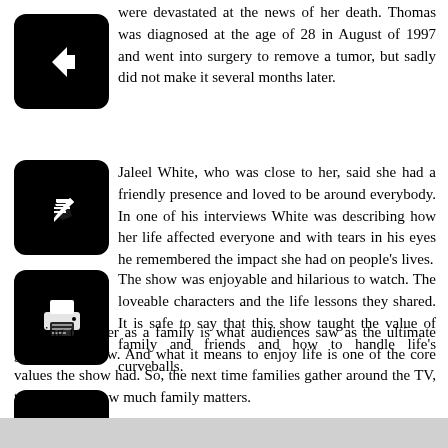were devastated at the news of her death. Thomas was diagnosed at the age of 28 in August of 1997 and went into surgery to remove a tumor, but sadly did not make it several months later.
Jaleel White, who was close to her, said she had a friendly presence and loved to be around everybody. In one of his interviews White was describing how her life affected everyone and with tears in his eyes he remembered the impact she had on people's lives.
The show was enjoyable and hilarious to watch. The loveable characters and the life lessons they shared. It is safe to say that this show taught the value of family and friends and how to handle life's curveballs.
Sticking together as a family is what audiences saw as the ultimate goal of the show. And what it means to enjoy life is one of the core values the show had. So, the next time families gather around the TV, they will see how much family matters.